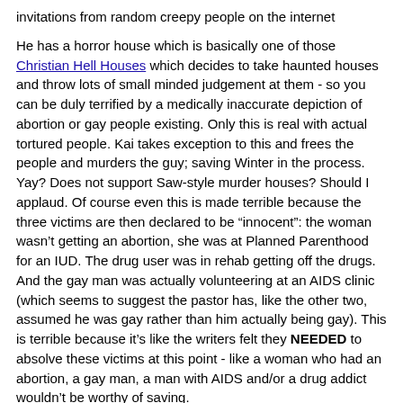invitations from random creepy people on the internet
He has a horror house which is basically one of those Christian Hell Houses which decides to take haunted houses and throw lots of small minded judgement at them - so you can be duly terrified by a medically inaccurate depiction of abortion or gay people existing. Only this is real with actual tortured people. Kai takes exception to this and frees the people and murders the guy; saving Winter in the process. Yay? Does not support Saw-style murder houses? Should I applaud. Of course even this is made terrible because the three victims are then declared to be “innocent”: the woman wasn’t getting an abortion, she was at Planned Parenthood for an IUD. The drug user was in rehab getting off the drugs. And the gay man was actually volunteering at an AIDS clinic (which seems to suggest the pastor has, like the other two, assumed he was gay rather than him actually being gay). This is terrible because it’s like the writers felt they NEEDED to absolve these victims at this point - like a woman who had an abortion, a gay man, a man with AIDS and/or a drug addict wouldn’t be worthy of saving.